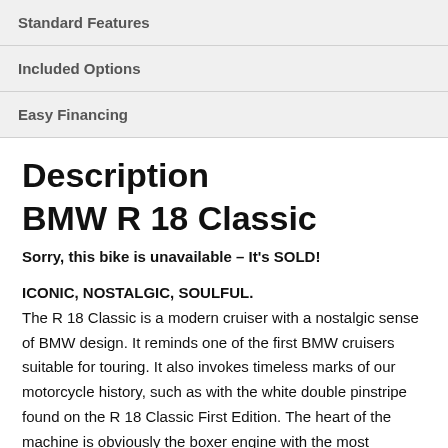Standard Features
Included Options
Easy Financing
Description
BMW R 18 Classic
Sorry, this bike is unavailable – It's SOLD!
ICONIC, NOSTALGIC, SOULFUL. The R 18 Classic is a modern cruiser with a nostalgic sense of BMW design. It reminds one of the first BMW cruisers suitable for touring. It also invokes timeless marks of our motorcycle history, such as with the white double pinstripe found on the R 18 Classic First Edition. The heart of the machine is obviously the boxer engine with the most displacement we have ever built. It is designed for relaxing tours and pure enjoyment. The R 18 combines many iconic hallmarks of BMW history.